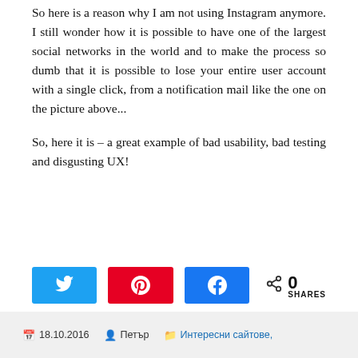So here is a reason why I am not using Instagram anymore. I still wonder how it is possible to have one of the largest social networks in the world and to make the process so dumb that it is possible to lose your entire user account with a single click, from a notification mail like the one on the picture above...
So, here it is – a great example of bad usability, bad testing and disgusting UX!
[Figure (infographic): Social sharing buttons: Twitter (blue), Pinterest (red), Facebook (blue), and a share count showing 0 SHARES]
18.10.2016   Петър   Интересни сайтове,